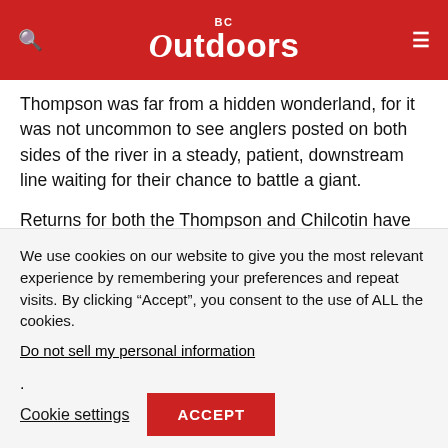BC Outdoors
Thompson was far from a hidden wonderland, for it was not uncommon to see anglers posted on both sides of the river in a steady, patient, downstream line waiting for their chance to battle a giant.
Returns for both the Thompson and Chilcotin have seen numbers as high as 7,000 combined, and the Thompson River alone has recorded spawning abundances of 2,000 to 3,000
We use cookies on our website to give you the most relevant experience by remembering your preferences and repeat visits. By clicking “Accept”, you consent to the use of ALL the cookies.
Do not sell my personal information.
Cookie settings
ACCEPT